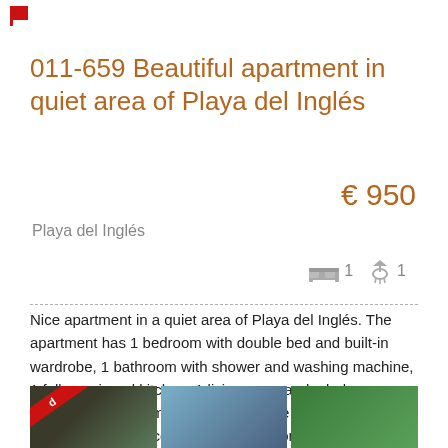[Figure (logo): Small red flag/logo icon in top left corner]
011-659 Beautiful apartment in quiet area of Playa del Inglés
€ 950
Playa del Inglés
1 bedroom, 1 bathroom icons
Nice apartment in a quiet area of Playa del Inglés. The apartment has 1 bedroom with double bed and built-in wardrobe, 1 bathroom with shower and washing machine, 1 fully equipped kitchen, 1 living room and a balcony overlooking the common areas and the mountains. Located in a quiet complex and with common areas very well maintained. The price includes electricity and water costs!
[Figure (photo): Two apartment/building exterior photos at bottom of page, left photo has red diagonal banner]